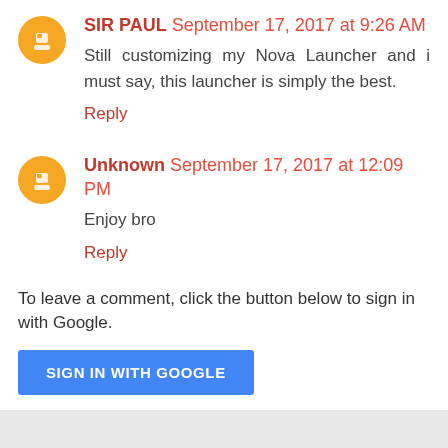SIR PAUL September 17, 2017 at 9:26 AM
Still customizing my Nova Launcher and i must say, this launcher is simply the best.
Reply
Unknown September 17, 2017 at 12:09 PM
Enjoy bro
Reply
To leave a comment, click the button below to sign in with Google.
SIGN IN WITH GOOGLE